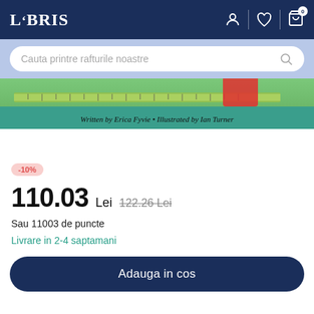LIBRIS
[Figure (screenshot): Book cover image showing bottom portion: teal green background with a ruler graphic and text 'Written by Erica Fyvie • Illustrated by Ian Turner']
-10%
110.03 Lei  122.26 Lei
Sau 11003 de puncte
Livrare in 2-4 saptamani
Adauga in cos